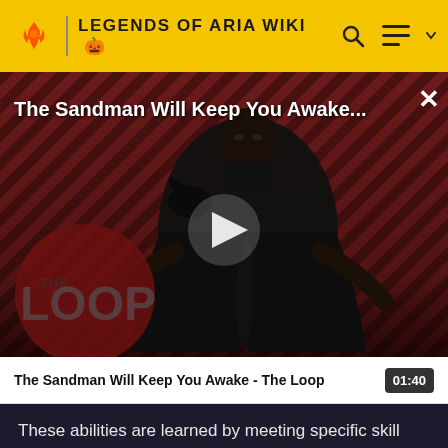LEGENDS OF ARIA WIKI
[Figure (screenshot): Video thumbnail showing a figure in black cape on a diagonal striped red/brown background with THE LOOP logo overlay and a white play button in center. Title overlay reads 'The Sandman Will Keep You Awake...' with an X close button.]
The Sandman Will Keep You Awake - The Loop
01:40
These abilities are learned by meeting specific skill requirements, completing profession quests and earning enough Ability Points to pay for the ability. You can find